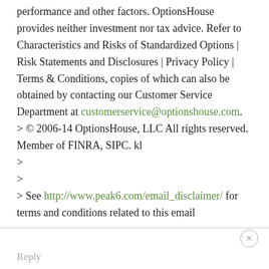performance and other factors. OptionsHouse provides neither investment nor tax advice. Refer to Characteristics and Risks of Standardized Options | Risk Statements and Disclosures | Privacy Policy | Terms & Conditions, copies of which can also be obtained by contacting our Customer Service Department at customerservice@optionshouse.com.
> © 2006-14 OptionsHouse, LLC All rights reserved. Member of FINRA, SIPC. kl
>
>
> See http://www.peak6.com/email_disclaimer/ for terms and conditions related to this email
Reply